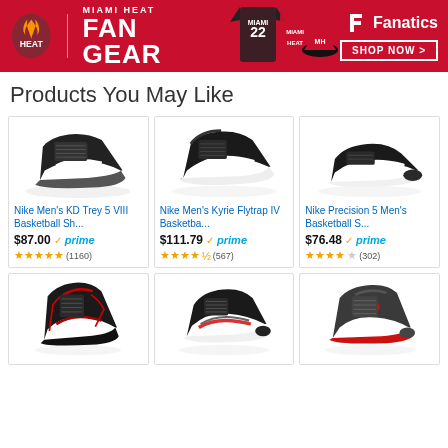[Figure (infographic): Miami Heat Fan Gear banner advertisement with Fanatics branding, red background, showing Miami Heat logo, text 'MIAMI HEAT FAN GEAR', player jerseys and a hat, with 'SHOP NOW' button]
Products You May Like
[Figure (photo): Nike Men's KD Trey 5 VIII Basketball Shoe - black sneaker on white background]
Nike Men's KD Trey 5 VIII Basketball Sh...
$87.00 prime (1160 reviews, 5 stars)
[Figure (photo): Nike Men's Kyrie Flytrap IV Basketball shoe - black sneaker with white sole on white background]
Nike Men's Kyrie Flytrap IV Basketba...
$111.79 prime (567 reviews, 4.5 stars)
[Figure (photo): Nike Precision 5 Men's Basketball Shoe - black sneaker with white sole]
Nike Precision 5 Men's Basketball S...
$76.48 prime (302 reviews, 4 stars)
[Figure (photo): Black and red high-top basketball sneaker]
[Figure (photo): Black and red Nike basketball sneaker with white sole]
[Figure (photo): Air Jordan high-top basketball sneaker in dark grey with red accent]